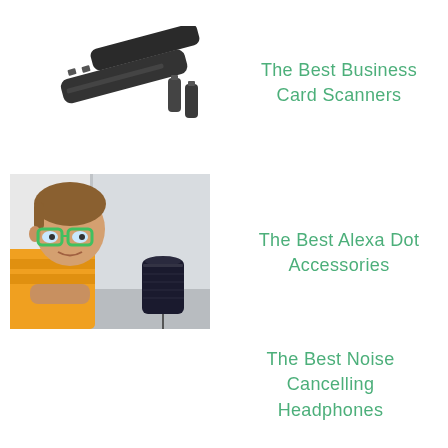[Figure (photo): Photo of business card scanners - two elongated black handheld scanner devices and two batteries]
The Best Business Card Scanners
[Figure (photo): Photo of a young boy with green glasses looking at an Amazon Echo Dot smart speaker on a table]
The Best Alexa Dot Accessories
The Best Noise Cancelling Headphones